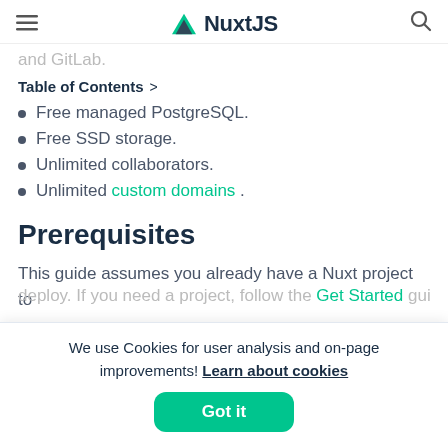NuxtJS
and GitLab.
Table of Contents >
Free managed PostgreSQL.
Free SSD storage.
Unlimited collaborators.
Unlimited custom domains .
Prerequisites
This guide assumes you already have a Nuxt project to deploy. If you need a project, follow the Get Started guide
We use Cookies for user analysis and on-page improvements! Learn about cookies Got it